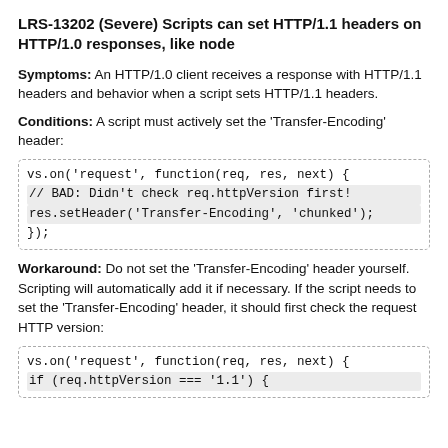LRS-13202 (Severe) Scripts can set HTTP/1.1 headers on HTTP/1.0 responses, like node
Symptoms: An HTTP/1.0 client receives a response with HTTP/1.1 headers and behavior when a script sets HTTP/1.1 headers.
Conditions: A script must actively set the 'Transfer-Encoding' header:
[Figure (screenshot): Code block showing: vs.on('request', function(req, res, next) { // BAD: Didn't check req.httpVersion first! res.setHeader('Transfer-Encoding', 'chunked'); });]
Workaround: Do not set the 'Transfer-Encoding' header yourself. Scripting will automatically add it if necessary. If the script needs to set the 'Transfer-Encoding' header, it should first check the request HTTP version:
[Figure (screenshot): Code block showing: vs.on('request', function(req, res, next) { if (req.httpVersion === '1.1') {]